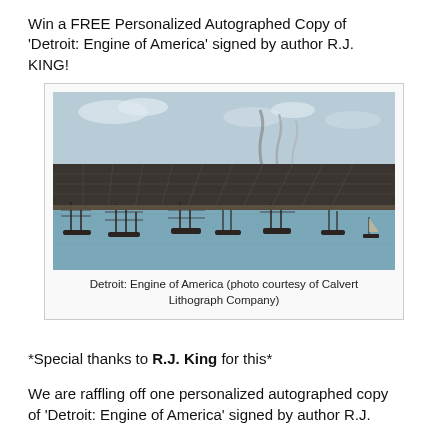Win a FREE Personalized Autographed Copy of 'Detroit: Engine of America' signed by author R.J. KING!
[Figure (photo): Historical bird's-eye view illustration of Detroit from the water, showing city grid with ships in the foreground and smoke rising from factories, courtesy of Calvert Lithograph Company]
Detroit: Engine of America (photo courtesy of Calvert Lithograph Company)
*Special thanks to R.J. King for this*
We are raffling off one personalized autographed copy of 'Detroit: Engine of America' signed by author R.J.